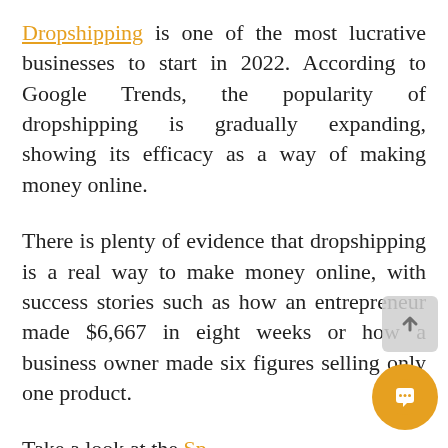Dropshipping is one of the most lucrative businesses to start in 2022. According to Google Trends, the popularity of dropshipping is gradually expanding, showing its efficacy as a way of making money online.
There is plenty of evidence that dropshipping is a real way to make money online, with success stories such as how an entrepreneur made $6,667 in eight weeks or how a business owner made six figures selling only one product.
Take a look at the Spocket dropshipping platform for more information.